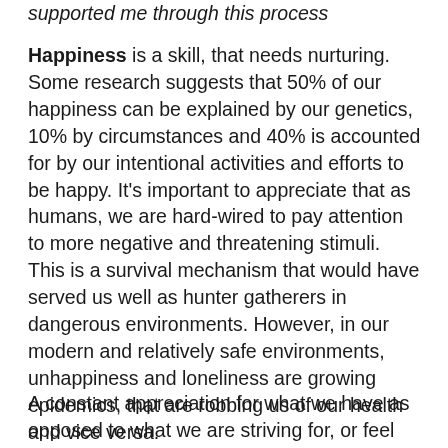supported me through this process
Happiness is a skill, that needs nurturing. Some research suggests that 50% of our happiness can be explained by our genetics, 10% by circumstances and 40% is accounted for by our intentional activities and efforts to be happy. It's important to appreciate that as humans, we are hard-wired to pay attention to more negative and threatening stimuli. This is a survival mechanism that would have served us well as hunter gatherers in dangerous environments. However, in our modern and relatively safe environments, unhappiness and loneliness are growing epidemics, that are robbing us of our health and vice versa.
A constant appreciation for what we have as opposed to what we are striving for, or feel we